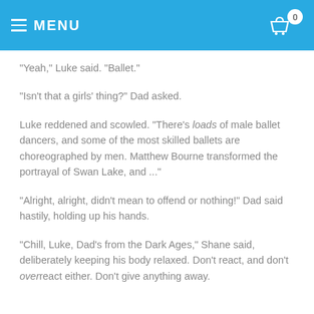MENU
"Yeah," Luke said. "Ballet."
"Isn't that a girls' thing?" Dad asked.
Luke reddened and scowled. "There's loads of male ballet dancers, and some of the most skilled ballets are choreographed by men. Matthew Bourne transformed the portrayal of Swan Lake, and ..."
"Alright, alright, didn't mean to offend or nothing!" Dad said hastily, holding up his hands.
"Chill, Luke, Dad's from the Dark Ages," Shane said, deliberately keeping his body relaxed. Don't react, and don't overreact either. Don't give anything away.